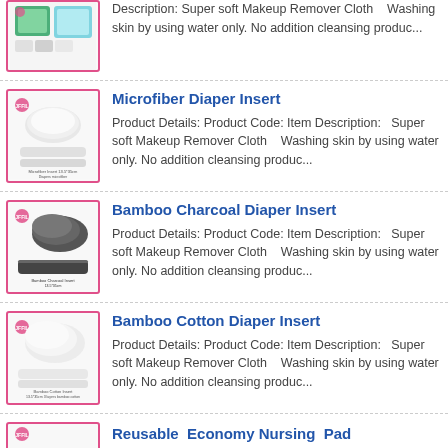[Figure (photo): Product image of cloth diaper items (partially visible at top)]
Description: Super soft Makeup Remover Cloth    Washing skin by using water only.  No addition cleansing produc...
[Figure (photo): Product image of Microfiber Diaper Insert, white rolled cloths]
Microfiber Diaper Insert
Product Details: Product Code: Item Description:   Super soft Makeup Remover Cloth    Washing skin by using water only.  No addition cleansing produc...
[Figure (photo): Product image of Bamboo Charcoal Diaper Insert, grey/charcoal rolled cloths]
Bamboo Charcoal Diaper Insert
Product Details: Product Code: Item Description:   Super soft Makeup Remover Cloth    Washing skin by using water only.  No addition cleansing produc...
[Figure (photo): Product image of Bamboo Cotton Diaper Insert, white rolled cloths]
Bamboo Cotton Diaper Insert
Product Details: Product Code: Item Description:   Super soft Makeup Remover Cloth    Washing skin by using water only.  No addition cleansing produc...
[Figure (photo): Product image of Reusable Economy Nursing Pad (partially visible)]
Reusable  Economy Nursing  Pad
Product Details: Product Code: Item...